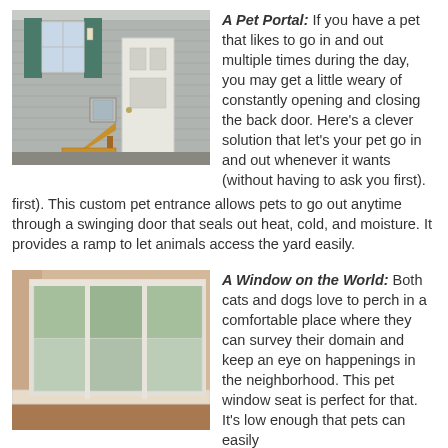[Figure (photo): Exterior of a house with gray siding, teal shutters, a white door, and a small pet portal with a wooden ramp at the base]
A Pet Portal: If you have a pet that likes to go in and out multiple times during the day, you may get a little weary of constantly opening and closing the back door. Here's a clever solution that let's your pet go in and out whenever it wants (without having to ask you first). This custom pet entrance allows pets to go out anytime through a swinging door that seals out heat, cold, and moisture. It provides a ramp to let animals access the yard easily.
[Figure (photo): Interior view of a large bay window with white trim and a wide window seat, looking out to trees]
A Window on the World: Both cats and dogs love to perch in a comfortable place where they can survey their domain and keep an eye on happenings in the neighborhood. This pet window seat is perfect for that. It's low enough that pets can easily